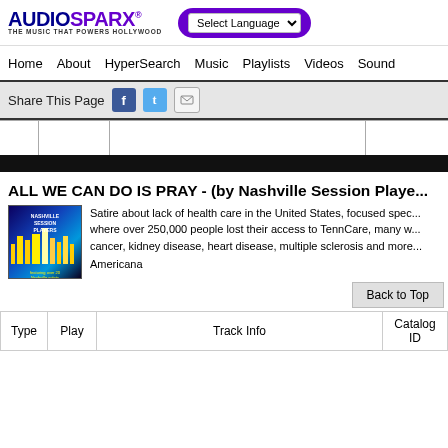AUDIOSPARX - THE MUSIC THAT POWERS HOLLYWOOD | Select Language
Home | About | HyperSearch | Music | Playlists | Videos | Sound
Share This Page
[Figure (screenshot): Media player area with column dividers and black bar]
ALL WE CAN DO IS PRAY - (by Nashville Session Players)
[Figure (photo): Nashville Session Players album cover with city skyline]
Satire about lack of health care in the United States, focused specifically on Tennessee, where over 250,000 people lost their access to TennCare, many w... cancer, kidney disease, heart disease, multiple sclerosis and more... Americana
Back to Top
| Type | Play | Track Info | Catalog ID |
| --- | --- | --- | --- |